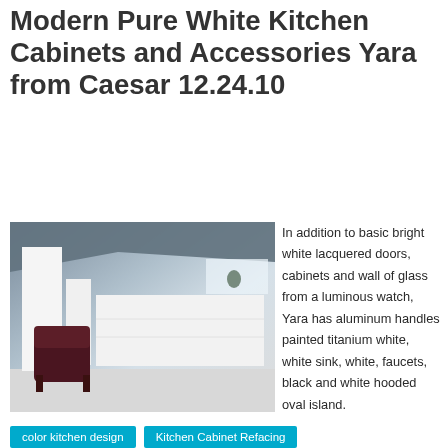Modern Pure White Kitchen Cabinets and Accessories Yara from Caesar 12.24.10
[Figure (photo): Modern white kitchen interior with white lacquered cabinets, open shelving, and a dark red/maroon accent chair in the foreground on a white floor]
In addition to basic bright white lacquered doors, cabinets and wall of glass from a luminous watch, Yara has aluminum handles painted titanium white, white sink, white, faucets, black and white hooded oval island.
color kitchen design
Kitchen Cabinet Refacing
kitchen decor
modern kitchen designs
remodeled kitchen design
Aluminum
Black And White
Black White